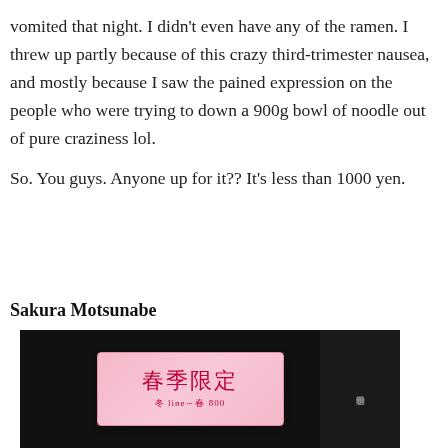vomited that night. I didn't even have any of the ramen. I threw up partly because of this crazy third-trimester nausea, and mostly because I saw the pained expression on the people who were trying to down a 900g bowl of noodle out of pure craziness lol.

So. You guys. Anyone up for it?? It's less than 1000 yen.
Sakura Motsunabe
[Figure (photo): Photo of a pink restaurant menu sign with Japanese characters (春季限定) in red text on a pink background, partially visible against a dark background]